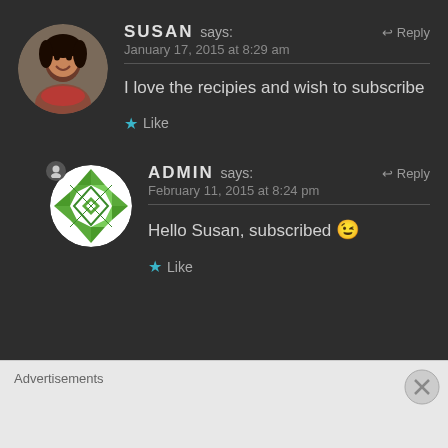SUSAN says: January 17, 2015 at 8:29 am
I love the recipies and wish to subscribe
★ Like
ADMIN says: February 11, 2015 at 8:24 pm
Hello Susan, subscribed 😉
★ Like
Advertisements